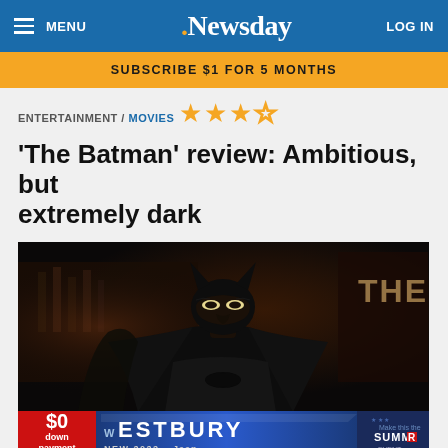MENU | Newsday | LOG IN
SUBSCRIBE $1 FOR 5 MONTHS
ENTERTAINMENT / MOVIES
[Figure (illustration): Four stars rating: 3 filled gold stars and 1 empty/outline star]
'The Batman' review: Ambitious, but extremely dark
[Figure (photo): Dark movie still from The Batman showing actor in Batman costume with black mask, with an advertisement overlay at the bottom for Westbury New 2022 Jeep dealership with $0 down payment offer]